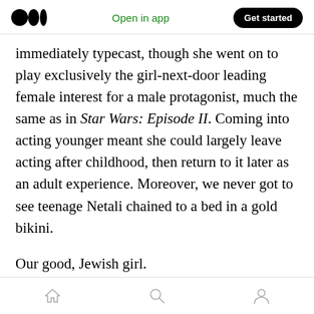Open in app  Get started
immediately typecast, though she went on to play exclusively the girl-next-door leading female interest for a male protagonist, much the same as in Star Wars: Episode II. Coming into acting younger meant she could largely leave acting after childhood, then return to it later as an adult experience. Moreover, we never got to see teenage Netali chained to a bed in a gold bikini.
Our good, Jewish girl.
So, if Hershlag is playing roles given mostly to British, or Hitlerite, actresses, is she not taking
home  search  profile